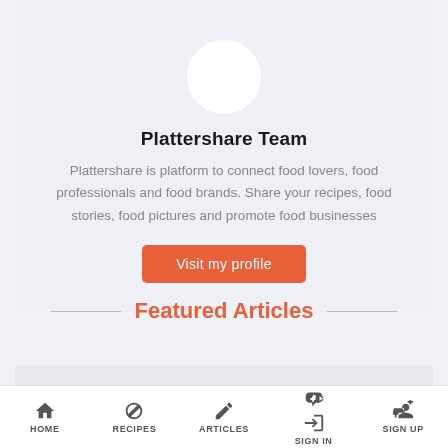[Figure (illustration): Circular avatar placeholder (white circle on light gray background)]
Plattershare Team
Plattershare is platform to connect food lovers, food professionals and food brands. Share your recipes, food stories, food pictures and promote food businesses
Visit my profile
Featured Articles
[Figure (illustration): Gray article card placeholder]
HOME   RECIPES   ARTICLES   SIGN IN   SIGN UP